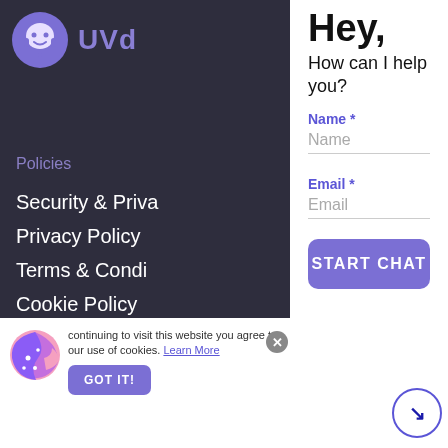[Figure (screenshot): UVdesk logo — purple avatar icon with headset and 'UVd' text in purple on dark background sidebar]
Policies
Security & Priva
Privacy Policy
Terms & Condi
Cookie Policy
GDPR
Hey,
How can I help you?
Name *
Name
Email *
Email
START CHAT
continuing to visit this website you agree to our use of cookies. Learn More
GOT IT!